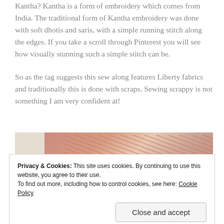Kantha? Kantha is a form of embroidery which comes from India. The traditional form of Kantha embroidery was done with soft dhotis and saris, with a simple running stitch along the edges. If you take a scroll through Pinterest you will see how visually stunning such a simple stitch can be.
So as the tag suggests this sew along features Liberty fabrics and traditionally this is done with scraps. Sewing scrappy is not something I am very confident at!
[Figure (photo): Photo of folded Liberty fabric bolts with floral prints in pink/red tones on a light wooden surface, with colorful floral fabric visible at the bottom]
Privacy & Cookies: This site uses cookies. By continuing to use this website, you agree to their use.
To find out more, including how to control cookies, see here: Cookie Policy
Close and accept